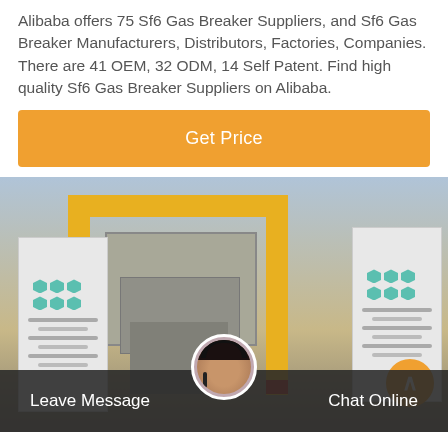Alibaba offers 75 Sf6 Gas Breaker Suppliers, and Sf6 Gas Breaker Manufacturers, Distributors, Factories, Companies. There are 41 OEM, 32 ODM, 14 Self Patent. Find high quality Sf6 Gas Breaker Suppliers on Alibaba.
[Figure (other): Orange 'Get Price' button on Alibaba supplier page]
[Figure (photo): Photo of industrial SF6 gas breaker equipment with yellow crane frame, white banners with hexagonal logos, inside a truck or loading area]
[Figure (other): Dark bottom navigation bar with 'Leave Message' on left, customer service avatar in center, and 'Chat Online' on right]